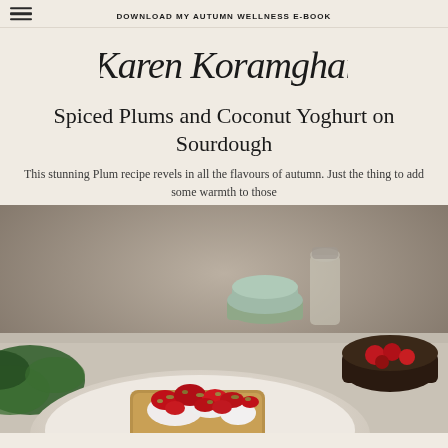DOWNLOAD MY AUTUMN WELLNESS E-BOOK
[Figure (logo): Karen Koramghai handwritten script logo in dark ink on beige background]
Spiced Plums and Coconut Yoghurt on Sourdough
This stunning Plum recipe revels in all the flavours of autumn. Just the thing to add some warmth to those
[Figure (photo): Food photography showing spiced plums with red/crimson colour and chopped pistachios on top of sourdough toast with white coconut yoghurt, served on a white plate. Background shows stacked sage-green bowls, dark bowl with red plums, leafy herb garnish on left, glass jar in background, on a warm grey stone surface.]